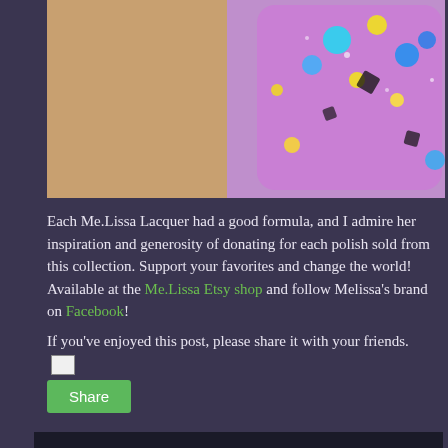[Figure (photo): Close-up photo of a hand with purple glittery nail polish decorated with colorful confetti dots in blue, yellow, and black shapes]
Each Me.Lissa Lacquer had a good formula, and I admire her inspiration and generosity of donating for each polish sold from this collection. Support your favorites and change the world! Available at the Me.Lissa Etsy shop and follow Melissa's brand on Facebook!
If you've enjoyed this post, please share it with your friends.
Share
10 comments
Lisa N.  12:18 PM, August 01, 2013
Gorgeous colors! I love your swatches! :)